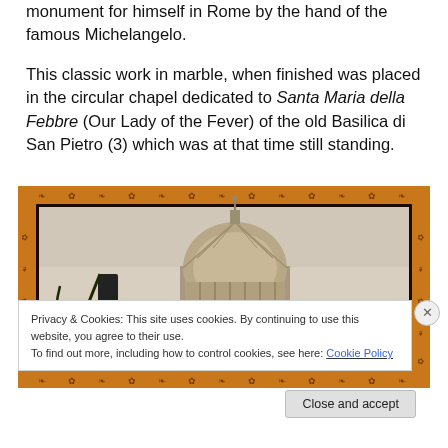monument for himself in Rome by the hand of the famous Michelangelo.
This classic work in marble, when finished was placed in the circular chapel dedicated to Santa Maria della Febbre (Our Lady of the Fever) of the old Basilica di San Pietro (3) which was at that time still standing.
[Figure (photo): Photograph of St. Peter's Basilica dome in Rome, shown through an ornate decorative frame with floral border pattern in orange/brown tones. A lamp post and palm branch silhouette visible in foreground.]
Privacy & Cookies: This site uses cookies. By continuing to use this website, you agree to their use. To find out more, including how to control cookies, see here: Cookie Policy
Close and accept